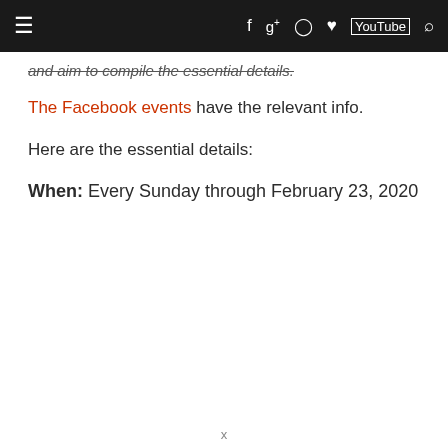Navigation bar with menu, facebook, google+, instagram, twitter, youtube, search icons
and aim to compile the essential details.
The Facebook events have the relevant info.
Here are the essential details:
When: Every Sunday through February 23, 2020
x